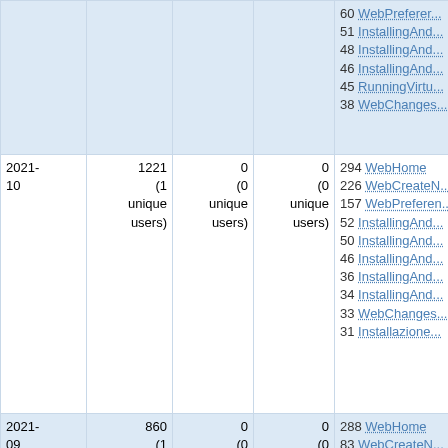| Month | Views | Edits | Contributors | Top Pages |
| --- | --- | --- | --- | --- |
|  |  |  |  | 60 WebPreferer...
51 InstallingAnd...
48 InstallingAnd...
46 InstallingAnd...
45 RunningVirtu...
38 WebChanges... |
| 2021-10 | 1221 (1 unique users) | 0 (0 unique users) | 0 (0 unique users) | 294 WebHome
226 WebCreateN...
157 WebPreferen...
52 InstallingAnd...
50 InstallingAnd...
46 InstallingAnd...
36 InstallingAnd...
34 InstallingAnd...
33 WebChanges...
31 Installazione... |
| 2021-09 | 860 (1 unique users) | 0 (0 unique users) | 0 (0 unique users) | 288 WebHome
83 WebCreateN...
71 InstallingAnd...
53 InstallingAnd...
45 WebPreferen...
43 InstallingAnd...
38 OpenStackU... |